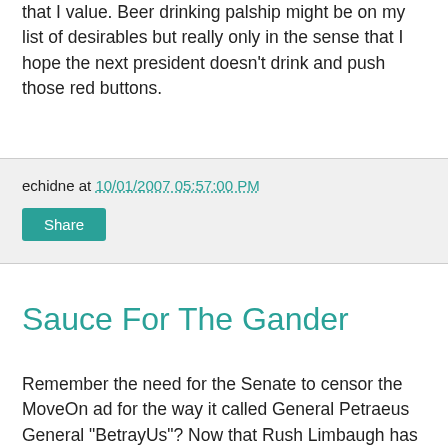that I value. Beer drinking palship might be on my list of desirables but really only in the sense that I hope the next president doesn't drink and push those red buttons.
echidne at 10/01/2007 05:57:00 PM
Share
Sauce For The Gander
Remember the need for the Senate to censor the MoveOn ad for the way it called General Petraeus General "BetrayUs"? Now that Rush Limbaugh has called soldiers who are against the Iraq occupation "phony soldiers", the "what is sauce for the goose is sauce for the gander" game is being played. Will the Senate censure Rush, too? Or is it acceptable to say mean things about the military as long as it is...